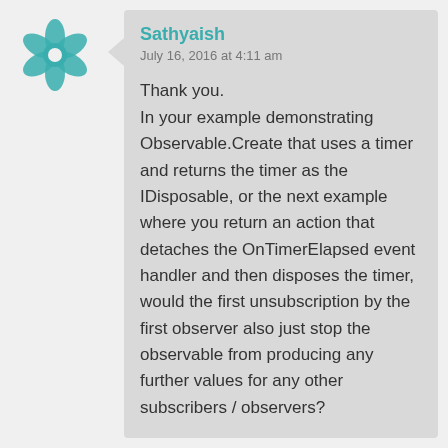[Figure (illustration): Teal geometric avatar/logo with interlocking circular design]
Sathyaish
July 16, 2016 at 4:11 am
Thank you.
In your example demonstrating Observable.Create that uses a timer and returns the timer as the IDisposable, or the next example where you return an action that detaches the OnTimerElapsed event handler and then disposes the timer, would the first unsubscription by the first observer also just stop the observable from producing any further values for any other subscribers / observers?